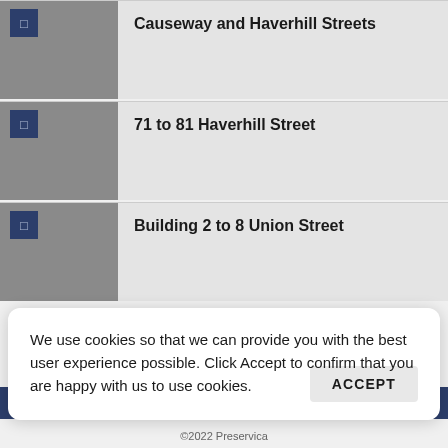Causeway and Haverhill Streets
71 to 81 Haverhill Street
Building 2 to 8 Union Street
1  2
Archived City of Boston Websites  |  Digital Records at the Boston City...
We use cookies so that we can provide you with the best user experience possible. Click Accept to confirm that you are happy with us to use cookies.   ACCEPT
©2022 Preservica